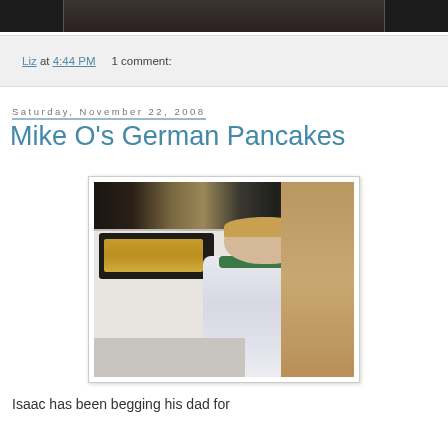[Figure (photo): Top portion of a photo showing people, cropped at the top of the page]
Liz at 4:44 PM    1 comment:
Saturday, November 22, 2008
Mike O's German Pancakes
[Figure (photo): A young toddler boy standing next to a white stove with a baking pan of German pancakes on the stove top. Kitchen items visible in background.]
Isaac has been begging his dad for